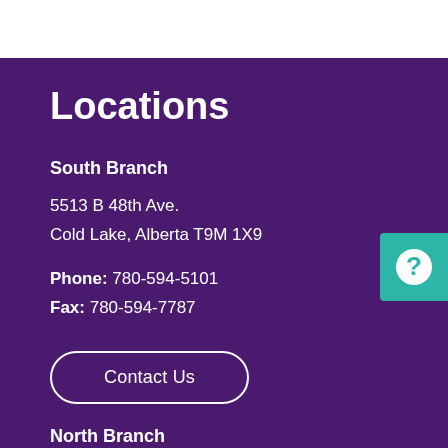Locations
South Branch
5513 B 48th Ave.
Cold Lake, Alberta T9M 1X9
Phone: 780-594-5101
Fax: 780-594-7787
Contact Us
North Branch